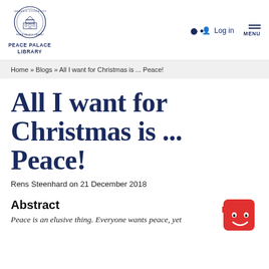[Figure (logo): Peace Palace Library circular logo with building illustration, text PEACE PALACE LIBRARY below]
Log in  MENU
Home » Blogs » All I want for Christmas is ... Peace!
All I want for Christmas is ... Peace!
Rens Steenhard on 21 December 2018
Abstract
Peace is an elusive thing. Everyone wants peace, yet
[Figure (illustration): Red square chatbot/robot icon with smiley face]